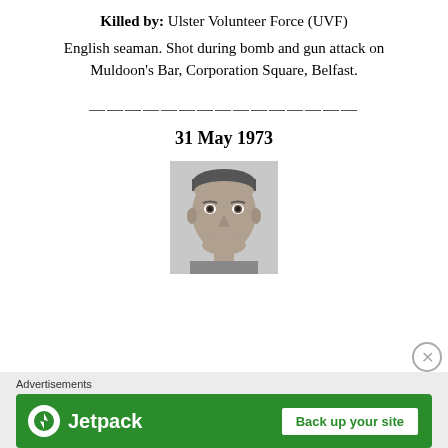Killed by: Ulster Volunteer Force (UVF) English seaman. Shot during bomb and gun attack on Muldoon's Bar, Corporation Square, Belfast.
———————————————
31 May 1973
[Figure (photo): Black and white portrait photo of a young man smiling]
Advertisements
[Figure (other): Jetpack advertisement banner with 'Back up your site' button]